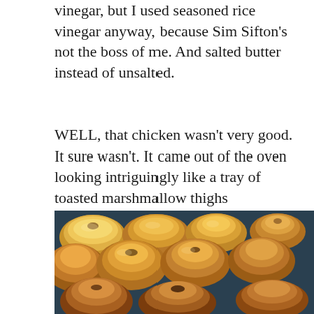vinegar, but I used seasoned rice vinegar anyway, because Sim Sifton's not the boss of me. And salted butter instead of unsalted.
WELL, that chicken wasn't very good. It sure wasn't. It came out of the oven looking intriguingly like a tray of toasted marshmallow thighs
[Figure (photo): Close-up photo of roasted chicken thighs in a baking tray, golden brown and puffy, resembling toasted marshmallows]